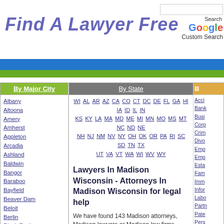Find A Lawyer Free
[Figure (logo): Google Custom Search box with Search button and Google logo]
By Major City
By State
B...
WI AL AR AZ CA CO CT DC DE FL GA HI IA ID IL IN KS KY LA MA MD ME MI MN MO MS MT NC ND NE NH NJ NM NV NY OH OK OR PA RI SC SD TN TX UT VA VT WA WI WV WY
Lawyers In Madison Wisconsin - Attorneys In Madison Wisconsin for legal help
We have found 143 Madison attorneys, Madison lawyers or Madison law firms. To find a lawyer in Madison Wisconsin or find an attorney in Madison Wisconsin, you may try to filter your search results by state, city or legal issue to narrow down your search results.
Albany
Altoona
Amery
Amherst
Appleton
Arcadia
Ashland
Baldwin
Bangor
Baraboo
Bayfield
Beaver Dam
Beloit
Berlin
Black Earth
Black River Falls
Brookfield
Burlington
Cameron
Cashton
Cecil
Cedarburg
Chetek
Chippewa Falls
Crivitz